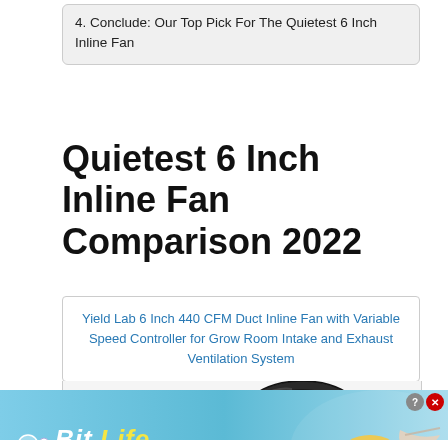4. Conclude: Our Top Pick For The Quietest 6 Inch Inline Fan
Quietest 6 Inch Inline Fan Comparison 2022
Yield Lab 6 Inch 440 CFM Duct Inline Fan with Variable Speed Controller for Grow Room Intake and Exhaust Ventilation System
[Figure (photo): Photo of a 6 inch inline fan with variable speed controller, showing black duct fan housing and white controller unit]
[Figure (infographic): BitLife advertisement banner — NOW WITH GOD MODE — with cartoon snail logo, pointing hand graphics, and lightning bolt accent]